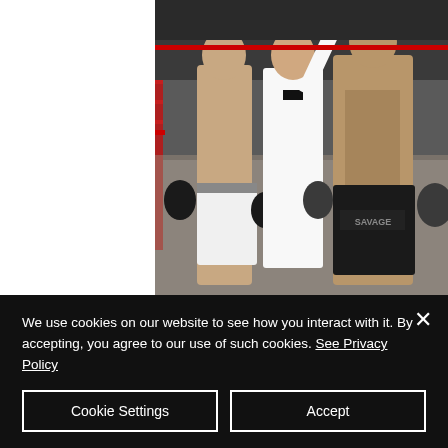[Figure (photo): Boxing ring photo showing two shirtless boxers and a referee raising one boxer's arm in victory. The winner on the right has tattoos covering his torso and wears black trunks labeled 'SAVAGE'. The other boxer on the left wears white trunks. The referee is dressed in white shirt and bow tie.]
Result
Dexter – 40-35
We use cookies on our website to see how you interact with it. By accepting, you agree to our use of such cookies. See Privacy Policy
Cookie Settings
Accept